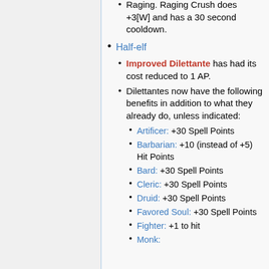Raging. Raging Crush does +3[W] and has a 30 second cooldown.
Half-elf
Improved Dilettante has had its cost reduced to 1 AP.
Dilettantes now have the following benefits in addition to what they already do, unless indicated:
Artificer: +30 Spell Points
Barbarian: +10 (instead of +5) Hit Points
Bard: +30 Spell Points
Cleric: +30 Spell Points
Druid: +30 Spell Points
Favored Soul: +30 Spell Points
Fighter: +1 to hit
Monk: ...